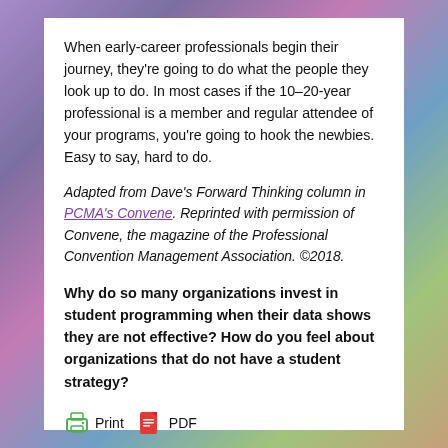When early-career professionals begin their journey, they're going to do what the people they look up to do. In most cases if the 10–20-year professional is a member and regular attendee of your programs, you're going to hook the newbies. Easy to say, hard to do.
Adapted from Dave's Forward Thinking column in PCMA's Convene. Reprinted with permission of Convene, the magazine of the Professional Convention Management Association. ©2018.
Why do so many organizations invest in student programming when their data shows they are not effective? How do you feel about organizations that do not have a student strategy?
Print   PDF